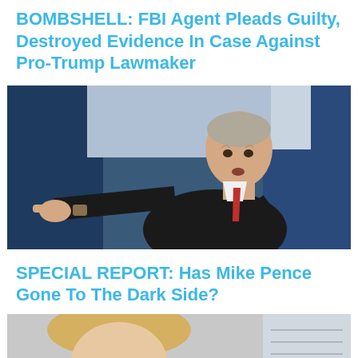BOMBSHELL: FBI Agent Pleads Guilty, Destroyed Evidence In Case Against Pro-Trump Lawmaker
[Figure (photo): Man in dark suit pointing finger at camera, speaking at an event with blue curtain background]
SPECIAL REPORT: Has Mike Pence Gone To The Dark Side?
[Figure (photo): Partial photo of a blonde woman at bottom of page with 'Generated by Feedzy' watermark]